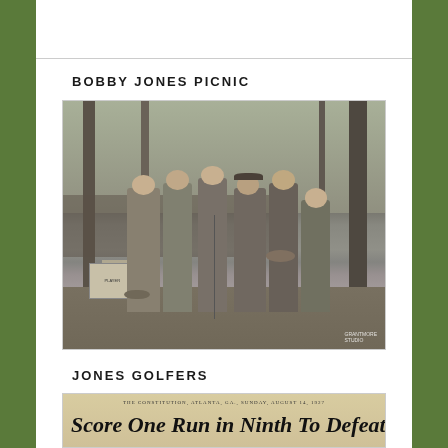BOBBY JONES PICNIC
[Figure (photo): Black and white photograph of a group of men in suits standing outdoors at a picnic, with trees and a crowd in the background.]
JONES GOLFERS
[Figure (photo): Partial view of a newspaper clipping with headline reading 'Score One Run in Ninth To Defeat Bobby Fe']